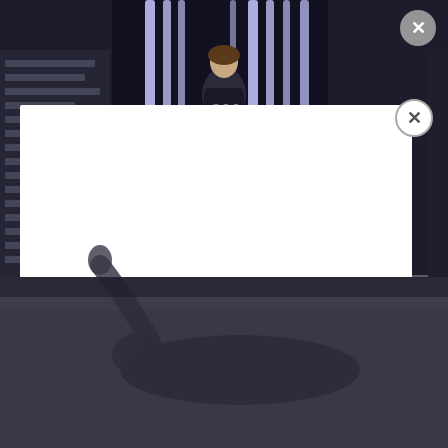[Figure (screenshot): Screenshot of a website showing a Rogue One Star Wars movie thumbnail at the top. The thumbnail shows a woman (Felicity Jones as Jyn Erso) against a dark sci-fi background with the text 'ROGUE ONE WILL BE HEADING BACK' overlaid. A grey circle close button (X) is at the top right. A white modal/popup overlay covers the center of the page. A circular close button (X) is at the top right of the modal. The bottom portion shows a dark, blurry scene of a person lying on the ground. The left side has dark sidebar panels with faint text lines.]